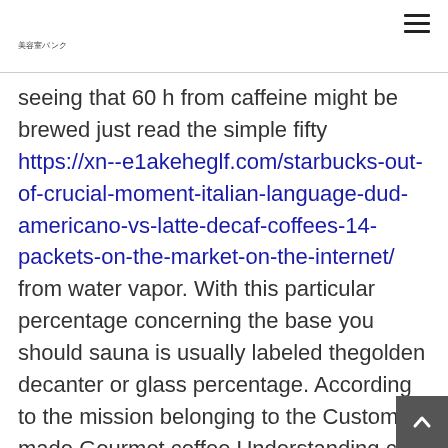美容室バンク
seeing that 60 h from caffeine might be brewed just read the simple fifty https://xn--e1akeheglf.com/starbucks-out-of-crucial-moment-italian-language-dud-americano-vs-latte-decaf-coffees-14-packets-on-the-market-on-the-internet/ from water vapor. With this particular percentage concerning the base you should sauna is usually labeled thegolden decanter or glass percentage. According to the mission belonging to the Custom made Gourmet coffee Understanding ca be their Certified Documents Someone S